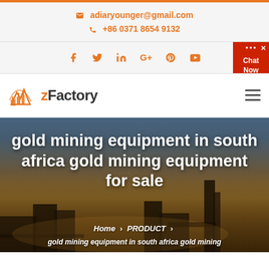adiaryounger@gmail.com | +86 0371 8654 9132
Social icons: Facebook, Twitter, LinkedIn, Google+, Pinterest, YouTube
[Figure (logo): zFactory logo with orange factory/mountain icon and bold text 'zFactory']
gold mining equipment in south africa gold mining equipment for sale
Home > PRODUCT > gold mining equipment in south africa gold mining